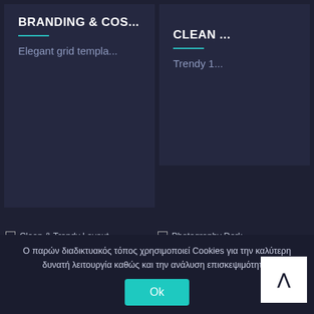BRANDING & COS...
Elegant grid templa...
CLEAN ...
Trendy 1...
Clean & Trendy Layout
CLEAN ...
Trendy 1...
Photography Dark
PHOTOGRAPHY D...
Dark template for s...
Ο παρών διαδικτυακός τόπος χρησιμοποιεί Cookies για την καλύτερη δυνατή λειτουργία καθώς και την ανάλυση επισκεψιμότητάς